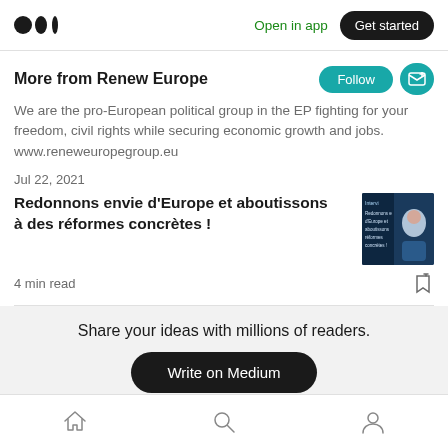Medium logo | Open in app | Get started
More from Renew Europe
We are the pro-European political group in the EP fighting for your freedom, civil rights while securing economic growth and jobs. www.reneweuropegroup.eu
Jul 22, 2021
Redonnons envie d’Europe et aboutissons à des réformes concrètes !
4 min read
Share your ideas with millions of readers.
Write on Medium
Home | Search | Profile